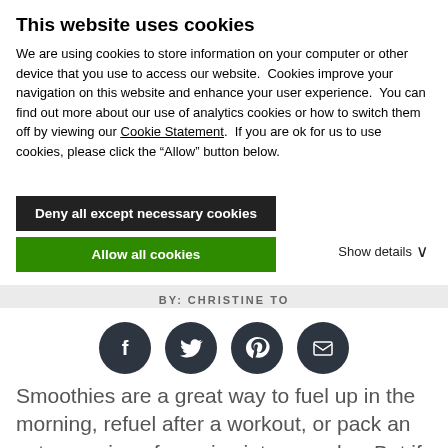This website uses cookies
We are using cookies to store information on your computer or other device that you use to access our website.  Cookies improve your navigation on this website and enhance your user experience.  You can find out more about our use of analytics cookies or how to switch them off by viewing our Cookie Statement.  If you are ok for us to use cookies, please click the “Allow” button below.
Deny all except necessary cookies
Allow all cookies
Show details ⌄
BY: CHRISTINE TO
[Figure (infographic): Four circular dark social media icon buttons: Facebook, Twitter, Pinterest, Email]
Smoothies are a great way to fuel up in the morning, refuel after a workout, or pack an extra serving of veggies into your day. But if you